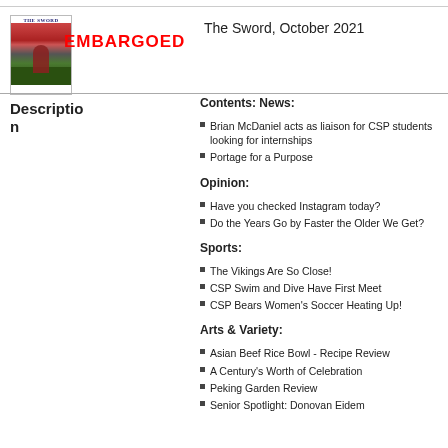[Figure (photo): Magazine cover of The Sword newspaper with a tree photo]
EMBARGOED
The Sword, October 2021
Description
Contents: News:
Brian McDaniel acts as liaison for CSP students looking for internships
Portage for a Purpose
Opinion:
Have you checked Instagram today?
Do the Years Go by Faster the Older We Get?
Sports:
The Vikings Are So Close!
CSP Swim and Dive Have First Meet
CSP Bears Women's Soccer Heating Up!
Arts & Variety:
Asian Beef Rice Bowl - Recipe Review
A Century's Worth of Celebration
Peking Garden Review
Senior Spotlight: Donovan Eidem